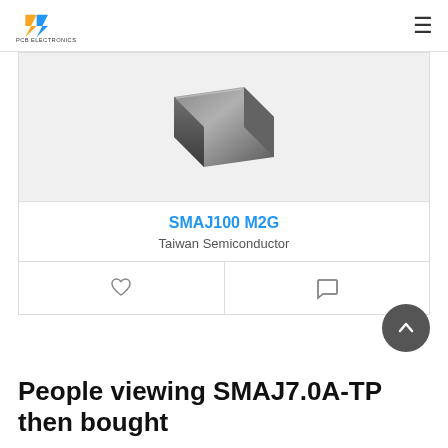PCB Electronics
[Figure (photo): Product photo of SMAJ100 M2G TVS diode component, dark metallic SMD component on grey background]
SMAJ100 M2G
Taiwan Semiconductor
[Figure (other): Heart (wishlist) icon and comment/chat icon action buttons]
People viewing SMAJ7.0A-TP then bought